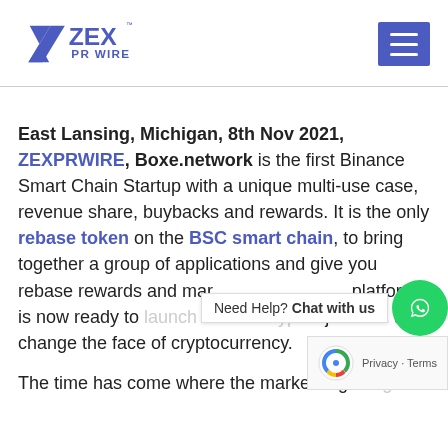ZEX PR WIRE
East Lansing, Michigan, 8th Nov 2021, ZEXPRWIRE, Boxe.network is the first Binance Smart Chain Startup with a unique multi-use case, revenue share, buybacks and rewards. It is the only rebase token on the BSC smart chain, to bring together a group of applications and give you rebase rewards and mar[ket rewards]. The platform is now ready to launch its new Crypto Project that will change the face of cryptocurrency.
The time has come where the market is gett[ing] ready for the future and people have started to b[e]...